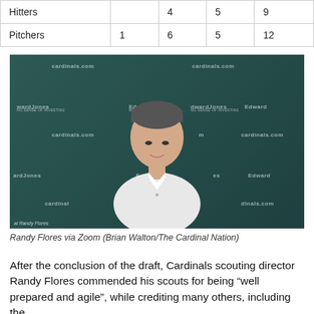|  |  |  |  |  |
| --- | --- | --- | --- | --- |
| Hitters |  | 4 | 5 | 9 |
| Pitchers | 1 | 6 | 5 | 12 |
[Figure (photo): Randy Flores speaking via Zoom in front of a St. Louis Cardinals branded backdrop featuring cardinals.com and Edward Jones logos, with a red cardinal bird graphic pattern.]
Randy Flores via Zoom (Brian Walton/The Cardinal Nation)
After the conclusion of the draft, Cardinals scouting director Randy Flores commended his scouts for being “well prepared and agile”, while crediting many others, including the